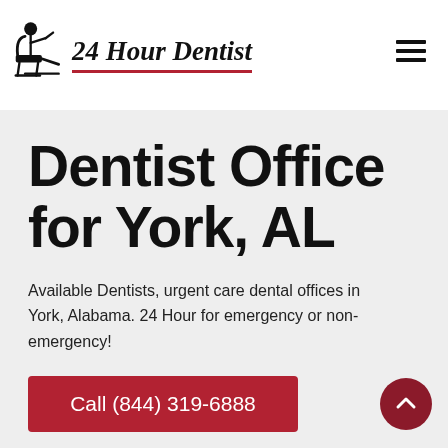24 Hour Dentist
Dentist Office for York, AL
Available Dentists, urgent care dental offices in York, Alabama. 24 Hour for emergency or non-emergency!
Call (844) 319-6888